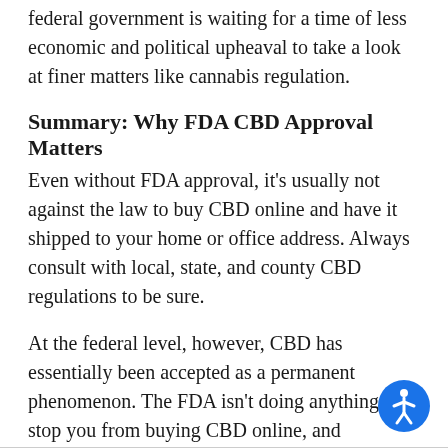federal government is waiting for a time of less economic and political upheaval to take a look at finer matters like cannabis regulation.
Summary: Why FDA CBD Approval Matters
Even without FDA approval, it's usually not against the law to buy CBD online and have it shipped to your home or office address. Always consult with local, state, and county CBD regulations to be sure.
At the federal level, however, CBD has essentially been accepted as a permanent phenomenon. The FDA isn't doing anything to stop you from buying CBD online, and whenever it comes, revision of the federal government's official stance toward CBD is nearly guaranteed to be favorable.